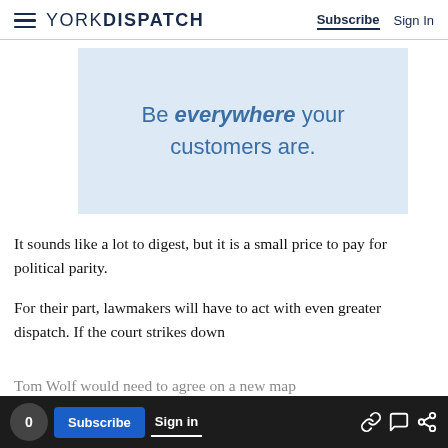YORK DISPATCH — Subscribe | Sign In
[Figure (other): Advertisement banner with light blue background and text: Be everywhere your customers are.]
It sounds like a lot to digest, but it is a small price to pay for political parity.
For their part, lawmakers will have to act with even greater dispatch. If the court strikes down
Tom Wolf would need to agree on a new map